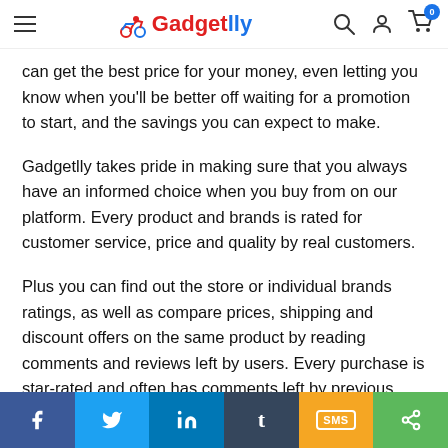Gadgetlly
can get the best price for your money, even letting you know when you'll be better off waiting for a promotion to start, and the savings you can expect to make.
Gadgetlly takes pride in making sure that you always have an informed choice when you buy from on our platform. Every product and brands is rated for customer service, price and quality by real customers.
Plus you can find out the store or individual brands ratings, as well as compare prices, shipping and discount offers on the same product by reading comments and reviews left by users. Every purchase is star-rated and often has comments left by previous customers describing their transaction experience so
f  t  in  t  SMS  share